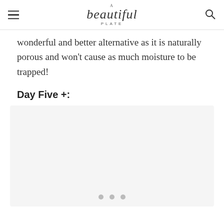A beautiful plate PLATE
wonderful and better alternative as it is naturally porous and won't cause as much moisture to be trapped!
Day Five +:
[Figure (photo): Image placeholder with three dots indicating a slideshow/carousel, light gray background]